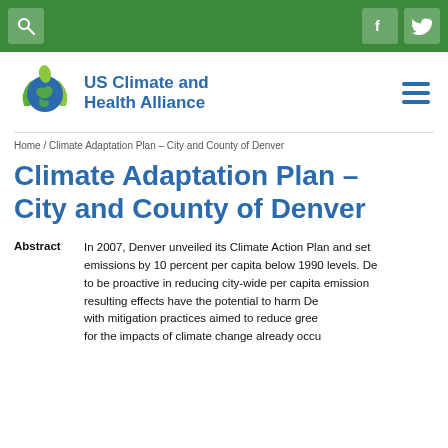US Climate and Health Alliance — Navigation bar with search, Facebook, and Twitter icons
[Figure (logo): US Climate and Health Alliance logo — globe with green leaf figures and blue text]
Home / Climate Adaptation Plan – City and County of Denver
Climate Adaptation Plan – City and County of Denver
Abstract   In 2007, Denver unveiled its Climate Action Plan and set emissions by 10 percent per capita below 1990 levels. Denver to be proactive in reducing city-wide per capita emissions. resulting effects have the potential to harm Denver with mitigation practices aimed to reduce greenhouse for the impacts of climate change already occurring and